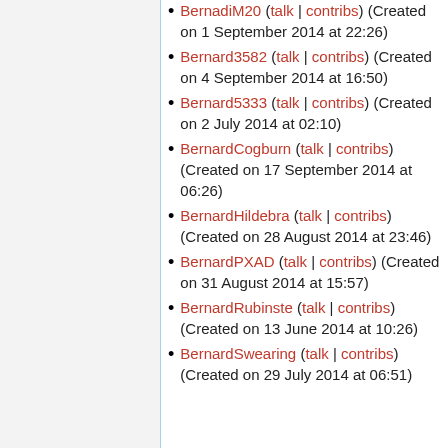BernadiM20 (talk | contribs) (Created on 1 September 2014 at 22:26)
Bernard3582 (talk | contribs) (Created on 4 September 2014 at 16:50)
Bernard5333 (talk | contribs) (Created on 2 July 2014 at 02:10)
BernardCogburn (talk | contribs) (Created on 17 September 2014 at 06:26)
BernardHildebra (talk | contribs) (Created on 28 August 2014 at 23:46)
BernardPXAD (talk | contribs) (Created on 31 August 2014 at 15:57)
BernardRubinste (talk | contribs) (Created on 13 June 2014 at 10:26)
BernardSwearing (talk | contribs) (Created on 29 July 2014 at 06:51)